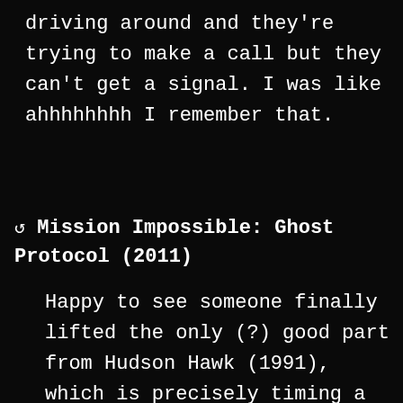driving around and they're trying to make a call but they can't get a signal. I was like ahhhhhhhh I remember that.
↺ Mission Impossible: Ghost Protocol (2011)
Happy to see someone finally lifted the only (?) good part from Hudson Hawk (1991), which is precisely timing a caper